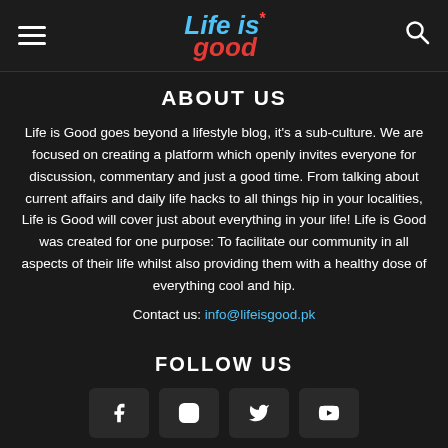Life is good [navigation header with hamburger menu and search icon]
ABOUT US
Life is Good goes beyond a lifestyle blog, it's a sub-culture. We are focused on creating a platform which openly invites everyone for discussion, commentary and just a good time. From talking about current affairs and daily life hacks to all things hip in your localities, Life is Good will cover just about everything in your life! Life is Good was created for one purpose: To facilitate our community in all aspects of their life whilst also providing them with a healthy dose of everything cool and hip.
Contact us: info@lifeisgood.pk
FOLLOW US
[Figure (other): Social media icons: Facebook, Instagram, Twitter, YouTube]